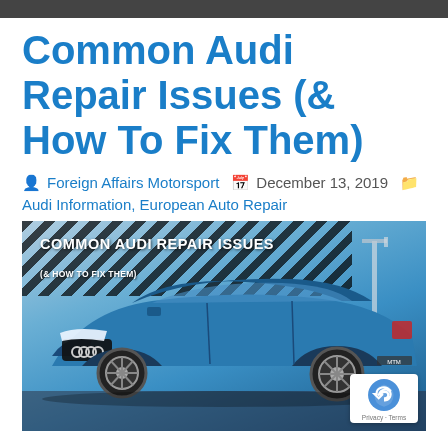Common Audi Repair Issues (& How To Fix Them)
Foreign Affairs Motorsport  December 13, 2019  Audi Information, European Auto Repair
[Figure (photo): Blue Audi RS car with headline text overlay 'COMMON AUDI REPAIR ISSUES (& HOW TO FIX THEM)' on a diagonal stripe banner background]